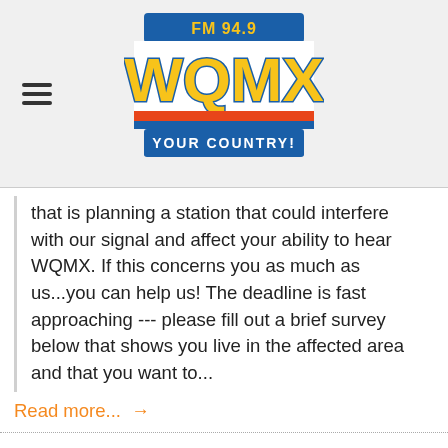[Figure (logo): FM 94.9 WQMX Your Country! radio station logo with yellow/blue/orange block lettering on a blue and red banner]
that is planning a station that could interfere with our signal and affect your ability to hear WQMX. If this concerns you as much as us...you can help us! The deadline is fast approaching --- please fill out a brief survey below that shows you live in the affected area and that you want to...
Read more... →
The 12 Strays of Christmas